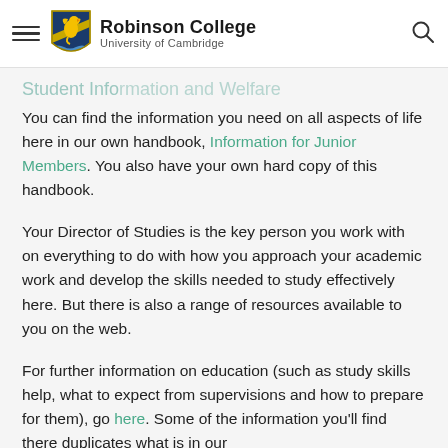Robinson College — University of Cambridge
Student Information and Welfare
You can find the information you need on all aspects of life here in our own handbook, Information for Junior Members. You also have your own hard copy of this handbook.
Your Director of Studies is the key person you work with on everything to do with how you approach your academic work and develop the skills needed to study effectively here. But there is also a range of resources available to you on the web.
For further information on education (such as study skills help, what to expect from supervisions and how to prepare for them), go here. Some of the information you'll find there duplicates what is in our